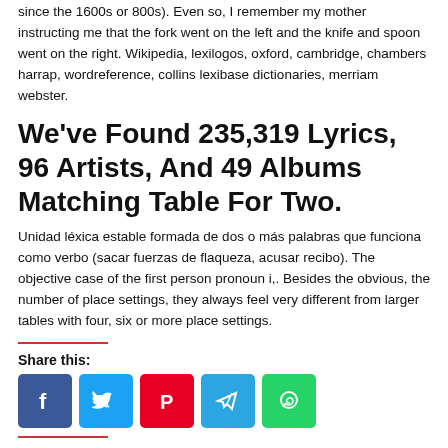since the 1600s or 800s). Even so, I remember my mother instructing me that the fork went on the left and the knife and spoon went on the right. Wikipedia, lexilogos, oxford, cambridge, chambers harrap, wordreference, collins lexibase dictionaries, merriam webster.
We've Found 235,319 Lyrics, 96 Artists, And 49 Albums Matching Table For Two.
Unidad léxica estable formada de dos o más palabras que funciona como verbo (sacar fuerzas de flaqueza, acusar recibo). The objective case of the first person pronoun i,. Besides the obvious, the number of place settings, they always feel very different from larger tables with four, six or more place settings.
Share this:
[Figure (infographic): Social media share buttons: Facebook (blue), Twitter (light blue), Pinterest (red), Telegram (blue), WhatsApp (green)]